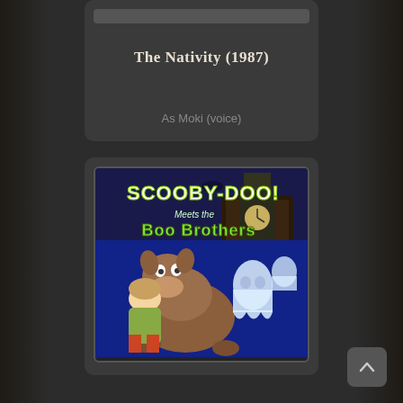The Nativity (1987)
As Moki (voice)
[Figure (photo): Movie cover art for Scooby-Doo Meets the Boo Brothers animated film, showing Scooby-Doo, Shaggy, and ghost characters]
Scooby-Doo Meets the Boo Brothers